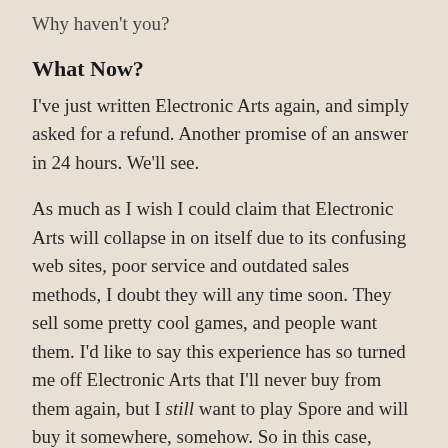Why haven't you?
What Now?
I've just written Electronic Arts again, and simply asked for a refund. Another promise of an answer in 24 hours. We'll see.
As much as I wish I could claim that Electronic Arts will collapse in on itself due to its confusing web sites, poor service and outdated sales methods, I doubt they will any time soon. They sell some pretty cool games, and people want them. I'd like to say this experience has so turned me off Electronic Arts that I'll never buy from them again, but I still want to play Spore and will buy it somewhere, somehow. So in this case, getting the experience right is probably not a matter of corporate survival.
But think of how much better EA could be if they not